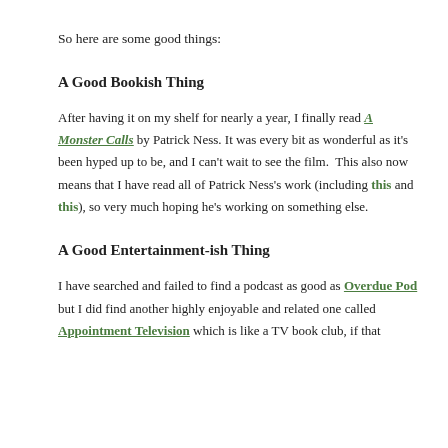So here are some good things:
A Good Bookish Thing
After having it on my shelf for nearly a year, I finally read A Monster Calls by Patrick Ness. It was every bit as wonderful as it's been hyped up to be, and I can't wait to see the film. This also now means that I have read all of Patrick Ness's work (including this and this), so very much hoping he's working on something else.
A Good Entertainment-ish Thing
I have searched and failed to find a podcast as good as Overdue Pod but I did find another highly enjoyable and related one called Appointment Television which is like a TV book club, if that